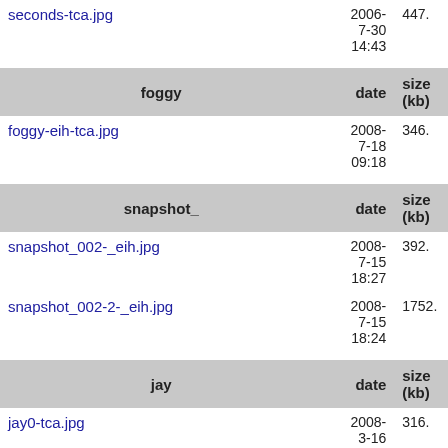|  | date | size (kb) |
| --- | --- | --- |
| seconds-tca.jpg | 2006-7-30 14:43 | 447. |
| foggy | date | size (kb) |
| foggy-eih-tca.jpg | 2008-7-18 09:18 | 346. |
| snapshot_ | date | size (kb) |
| snapshot_002-_eih.jpg | 2008-7-15 18:27 | 392. |
| snapshot_002-2-_eih.jpg | 2008-7-15 18:24 | 1752. |
| jay | date | size (kb) |
| jay0-tca.jpg | 2008-3-16 | 316. |